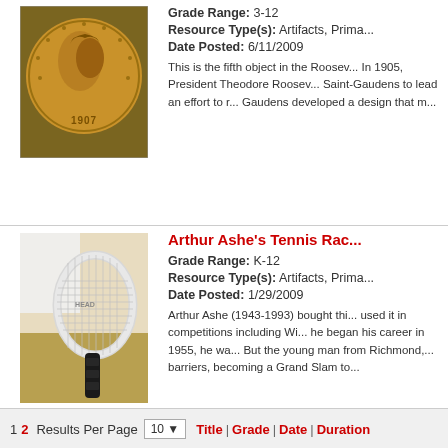[Figure (photo): Gold coin from 1907, Roosevelt coin, circular gold coin with portrait]
Grade Range: 3-12
Resource Type(s): Artifacts, Primary Sources
Date Posted: 6/11/2009
This is the fifth object in the Roosevelt collection. In 1905, President Theodore Roosevelt commissioned Saint-Gaudens to lead an effort to redesign American coins. Saint-Gaudens developed a design that...
[Figure (photo): Arthur Ashe's tennis racket lying on a surface]
Arthur Ashe's Tennis Racket
Grade Range: K-12
Resource Type(s): Artifacts, Primary Sources
Date Posted: 1/29/2009
Arthur Ashe (1943-1993) bought this racket and used it in competitions including Wimbledon. When he began his career in 1955, he was... But the young man from Richmond... barriers, becoming a Grand Slam to...
1  2  Results Per Page 10  Title | Grade | Date | Duration